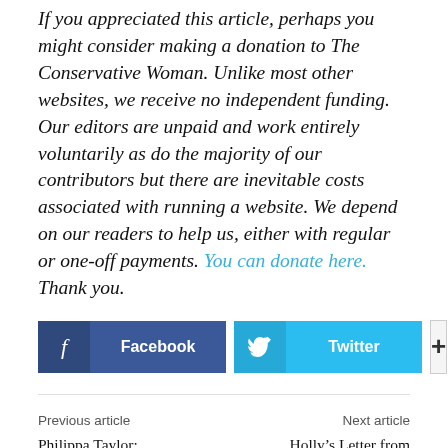If you appreciated this article, perhaps you might consider making a donation to The Conservative Woman. Unlike most other websites, we receive no independent funding. Our editors are unpaid and work entirely voluntarily as do the majority of our contributors but there are inevitable costs associated with running a website. We depend on our readers to help us, either with regular or one-off payments. You can donate here. Thank you.
[Figure (infographic): Social share buttons: Facebook (dark blue), Twitter (light blue), and a '+' more button (light grey)]
Previous article
Philippa Taylor: “Eggsploitation”. Poor women paid to donate their eggs for the benefit of a wealthy minority
Next article
Holly’s Letter from America: Memo to Hillary. Merit trumps gender